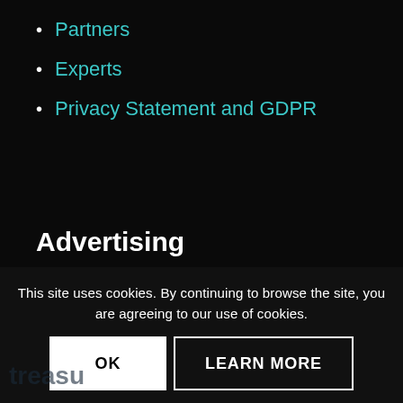Partners
Experts
Privacy Statement and GDPR
Advertising
Reach the treasury market in an easy way with treasuryXL. See how we can help you and download our Partner Program.
This site uses cookies. By continuing to browse the site, you are agreeing to our use of cookies.
OK
LEARN MORE